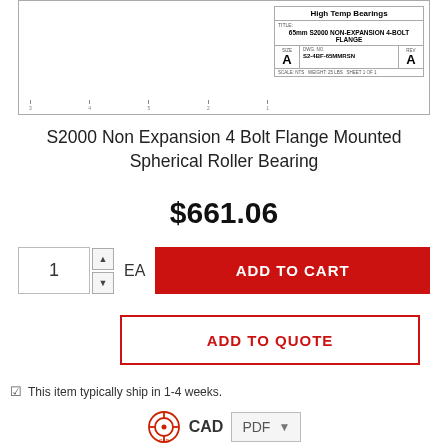[Figure (engineering-diagram): Engineering drawing thumbnail of 65mm S2000 Non-Expansion 4-Bolt Flange bearing with title block. Company: High Temp Bearings. Title: 65mm S2000 NON-EXPANSION 4-BOLT FLANGE. Size: A, DWG. NO.: S2-4BF-65MMRSN, REV: A. Scale: NTS, Weight: 25 LBS, Sheet 1 of 1.]
S2000 Non Expansion 4 Bolt Flange Mounted Spherical Roller Bearing
$661.06
1 EA ADD TO CART
ADD TO QUOTE
This item typically ship in 1-4 weeks.
CAD PDF